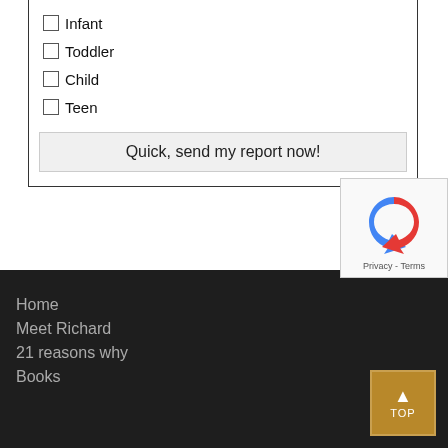Infant
Toddler
Child
Teen
Quick, send my report now!
[Figure (other): reCAPTCHA badge with recycling arrow logo and Privacy - Terms links]
Home
Meet Richard
21 reasons why
Books